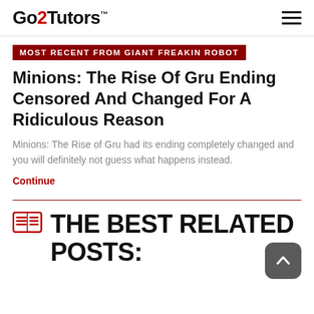Go2Tutors™
MOST RECENT FROM GIANT FREAKIN ROBOT
Minions: The Rise Of Gru Ending Censored And Changed For A Ridiculous Reason
Minions: The Rise of Gru had its ending completely changed and you will definitely not guess what happens instead.
Continue
THE BEST RELATED POSTS: